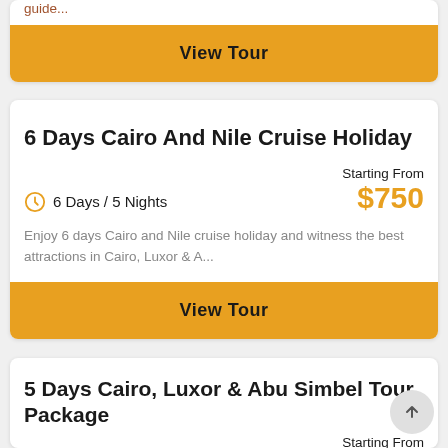guide...
View Tour
6 Days Cairo And Nile Cruise Holiday
6 Days / 5 Nights
Starting From $750
Enjoy 6 days Cairo and Nile cruise holiday and witness the best attractions in Cairo, Luxor & A...
View Tour
5 Days Cairo, Luxor & Abu Simbel Tour Package
Starting From